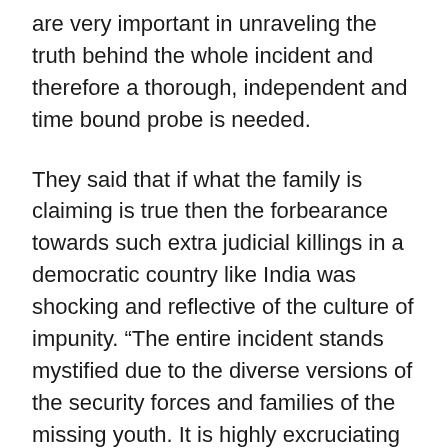are very important in unraveling the truth behind the whole incident and therefore a thorough, independent and time bound probe is needed.
They said that if what the family is claiming is true then the forbearance towards such extra judicial killings in a democratic country like India was shocking and reflective of the culture of impunity. “The entire incident stands mystified due to the diverse versions of the security forces and families of the missing youth. It is highly excruciating to see innocent people losing their precious lives and their blood being spilled. Such incidents will undoubtedly not help the situation become any better; such incidents only enrage people and leave perpetual wounds on them. Only an impartial and time bound inquiry into the matter will reveal the circumstances revolving around the three missing boys. The incident